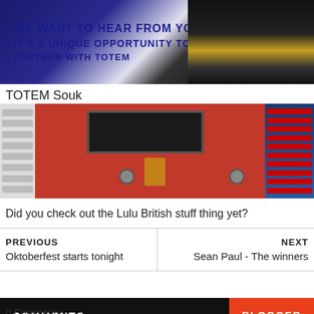[Figure (photo): Top portion of an image with dark blue text reading 'WE WANT TO HEAR FROM YOU. IT'S A UNIQUE OPPORTUNITY TO PARTNER WITH TOTEM' on a light background, with a dark geometric shape on the right.]
TOTEM Souk
[Figure (photo): Photo of a large red vending or automated machine with a black display panel, circular bolts, and store shelves visible on the left and right sides.]
Did you check out the Lulu British stuff thing yet?
PREVIOUS
Oktoberfest starts tonight
NEXT
Sean Paul - The winners
COMMENTS
BLOGGER
0 Comments: